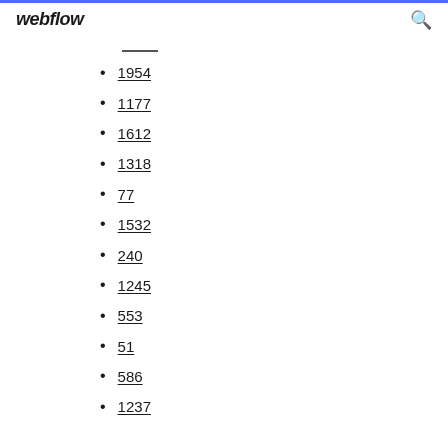webflow
1954
1177
1612
1318
77
1532
240
1245
553
51
586
1237